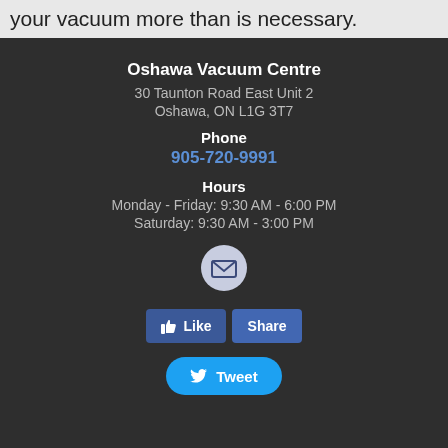your vacuum more than is necessary.
Oshawa Vacuum Centre
30 Taunton Road East Unit 2
Oshawa, ON L1G 3T7
Phone
905-720-9991
Hours
Monday - Friday: 9:30 AM - 6:00 PM
Saturday: 9:30 AM - 3:00 PM
[Figure (illustration): Email envelope icon inside a circular button]
[Figure (illustration): Facebook Like and Share buttons]
[Figure (illustration): Twitter Tweet button]